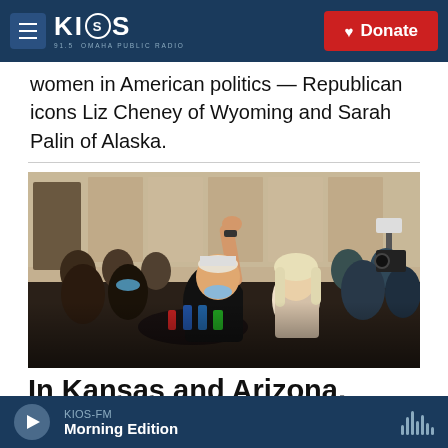KIOS 91.5 OMAHA PUBLIC RADIO — Donate
women in American politics — Republican icons Liz Cheney of Wyoming and Sarah Palin of Alaska.
[Figure (photo): Crowd of people celebrating at an event; a young man in a black t-shirt raises his fist in the air with a big smile, a young blonde woman stands next to him also smiling, other attendees visible in the background.]
In Kansas and Arizona, voters
KIOS-FM Morning Edition